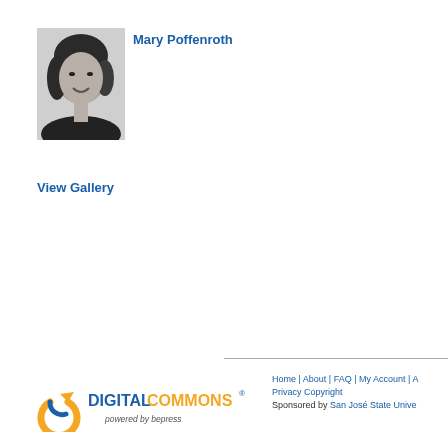[Figure (photo): Black and white headshot photo of Mary Poffenroth, a woman smiling at the camera]
Mary Poffenroth
View Gallery
[Figure (logo): Digital Commons powered by bepress logo with circular arrow icon in orange and blue]
Home | About | FAQ | My Account | A Privacy Copyright Sponsored by San José State Unive